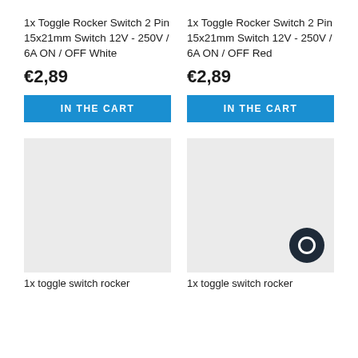1x Toggle Rocker Switch 2 Pin 15x21mm Switch 12V - 250V / 6A ON / OFF White
€2,89
IN THE CART
1x Toggle Rocker Switch 2 Pin 15x21mm Switch 12V - 250V / 6A ON / OFF Red
€2,89
IN THE CART
[Figure (photo): Product image placeholder (light grey box) for toggle switch rocker, left column]
1x toggle switch rocker
[Figure (photo): Product image placeholder (light grey box) for toggle switch rocker, right column, with chat bubble icon overlay]
1x toggle switch rocker